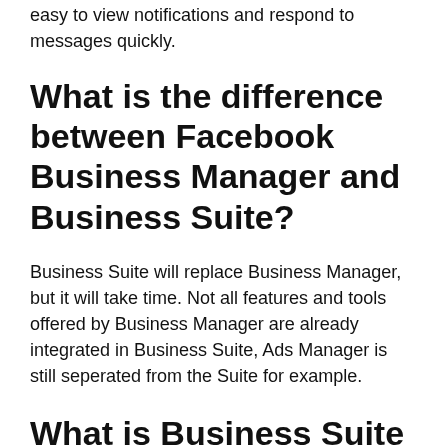easy to view notifications and respond to messages quickly.
What is the difference between Facebook Business Manager and Business Suite?
Business Suite will replace Business Manager, but it will take time. Not all features and tools offered by Business Manager are already integrated in Business Suite, Ads Manager is still seperated from the Suite for example.
What is Business Suite Facebook?